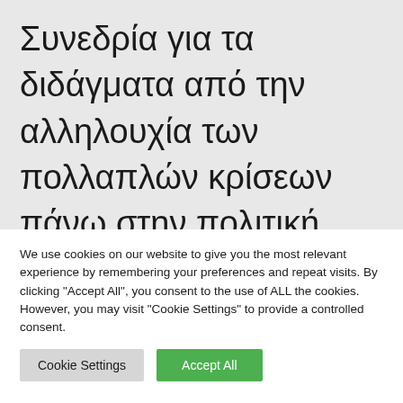Συνεδρία για τα διδάγματα από την αλληλουχία των πολλαπλών κρίσεων πάνω στην πολιτική, την οικονομία, την ασφάλεια και την παιδεία
We use cookies on our website to give you the most relevant experience by remembering your preferences and repeat visits. By clicking "Accept All", you consent to the use of ALL the cookies. However, you may visit "Cookie Settings" to provide a controlled consent.